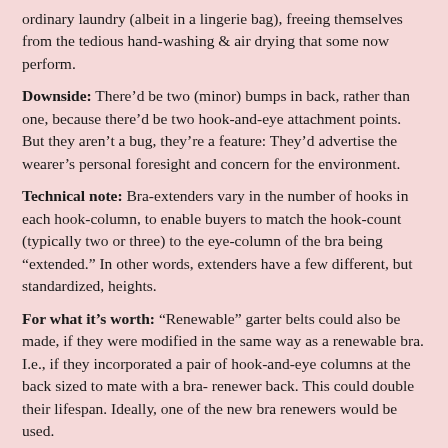ordinary laundry (albeit in a lingerie bag), freeing themselves from the tedious hand-washing & air drying that some now perform.
Downside: There’d be two (minor) bumps in back, rather than one, because there’d be two hook-and-eye attachment points. But they aren’t a bug, they’re a feature: They’d advertise the wearer’s personal foresight and concern for the environment.
Technical note: Bra-extenders vary in the number of hooks in each hook-column, to enable buyers to match the hook-count (typically two or three) to the eye-column of the bra being “extended.” In other words, extenders have a few different, but standardized, heights.
For what it’s worth: “Renewable” garter belts could also be made, if they were modified in the same way as a renewable bra. I.e., if they incorporated a pair of hook-and-eye columns at the back sized to mate with a bra- renewer back. This could double their lifespan. Ideally, one of the new bra renewers would be used.
(Not that these often wear out nowadays, they being mostly museum pieces or bedroom items. But they might see a revival, if the absurd three-times-greater wastefulness of the thrown-out material in pantyhose vs. stockings caused pantyhose (aka tights) to be banned or sin-taxed. That is out of the question today, but it